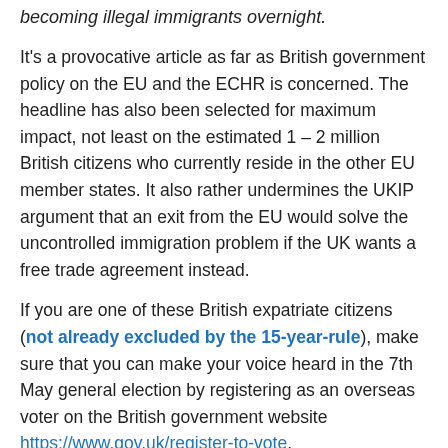becoming illegal immigrants overnight.
It's a provocative article as far as British government policy on the EU and the ECHR is concerned. The headline has also been selected for maximum impact, not least on the estimated 1 – 2 million British citizens who currently reside in the other EU member states. It also rather undermines the UKIP argument that an exit from the EU would solve the uncontrolled immigration problem if the UK wants a free trade agreement instead.
If you are one of these British expatriate citizens (not already excluded by the 15-year-rule), make sure that you can make your voice heard in the 7th May general election by registering as an overseas voter on the British government website https://www.gov.uk/register-to-vote.